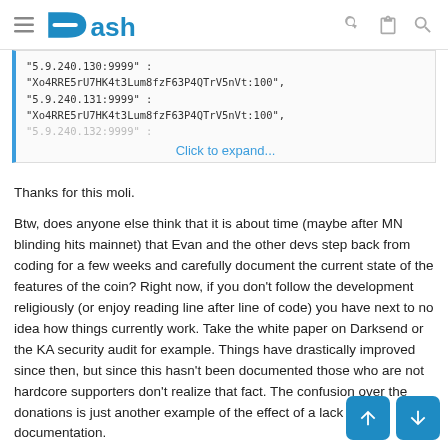Dash
"5.9.240.130:9999" :
"Xo4RRE5rU7HK4t3Lum8fzF63P4QTrV5nVt:100",
"5.9.240.131:9999" :
"Xo4RRE5rU7HK4t3Lum8fzF63P4QTrV5nVt:100",
"5.9.240.132:9999" :
Click to expand...
Thanks for this moli.
Btw, does anyone else think that it is about time (maybe after MN blinding hits mainnet) that Evan and the other devs step back from coding for a few weeks and carefully document the current state of the features of the coin? Right now, if you don't follow the development religiously (or enjoy reading line after line of code) you have next to no idea how things currently work. Take the white paper on Darksend or the KA security audit for example. Things have drastically improved since then, but since this hasn't been documented those who are not hardcore supporters don't realize that fact. The confusion over the donations is just another example of the effect of a lack of documentation.
In short, I think it is time to take documentation more seriously so